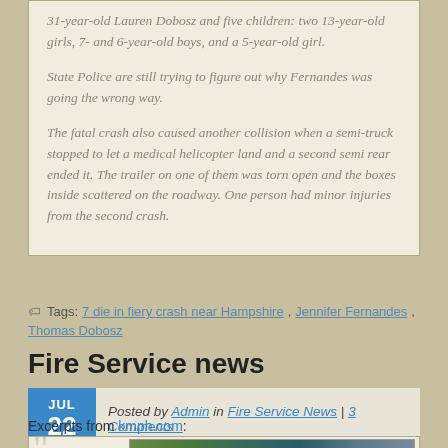31-year-old Lauren Dobosz and five children: two 13-year-old girls, 7- and 6-year-old boys, and a 5-year-old girl.

State Police are still trying to figure out why Fernandes was going the wrong way.

The fatal crash also caused another collision when a semi-truck stopped to let a medical helicopter land and a second semi rear ended it. The trailer on one of them was torn open and the boxes inside scattered on the roadway. One person had minor injuries from the second crash.
Tags: 7 die in fiery crash near Hampshire, Jennifer Fernandes, Thomas Dobosz
Fire Service news
Posted by Admin in Fire Service News | 3 Comments
Excerpts from kmph.com:
[Figure (photo): Bottom of article box with a large quotation mark on the left and a strip of green/blue landscape photos on the right]